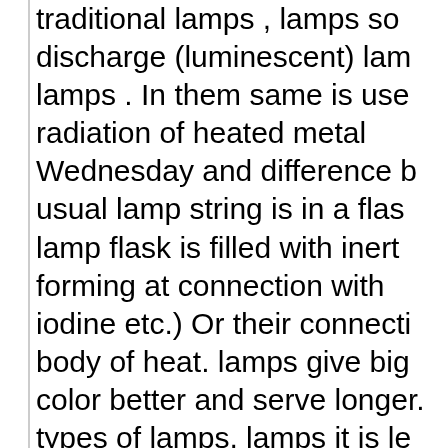traditional lamps , lamps so discharge (luminescent) lam lamps . In them same is use radiation of heated metal Wednesday and difference b usual lamp string is in a flas lamp flask is filled with inert forming at connection with iodine etc.) Or their connecti body of heat. lamps give big color better and serve longer. types of lamps, lamps it is le smaller size at big variet designation. Lamps all kinds radiate war